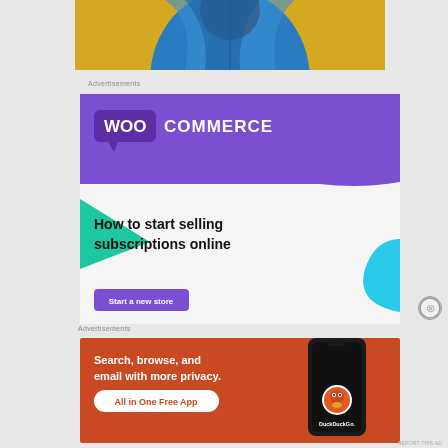[Figure (photo): Person wearing a blue puffer jacket against a yellow wall, only the torso visible at top of page]
Advertisements
[Figure (illustration): WooCommerce advertisement banner: purple header with WooCommerce logo, green triangle shape, blue curved shape, headline text 'How to start selling subscriptions online', and a purple 'Start a new store' button]
Advertisements
[Figure (illustration): DuckDuckGo advertisement: orange/red background with text 'Search, browse, and email with more privacy. All in One Free App' and a phone mockup showing DuckDuckGo logo]